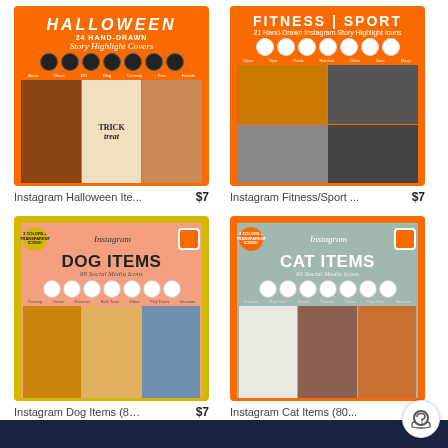[Figure (illustration): Instagram Halloween Story Highlight Covers product image - orange bordered card with Halloween theme]
[Figure (illustration): Instagram Fitness/Sport Story Highlight Icons product image - orange bordered card with fitness theme]
Instagram Halloween Ite... $7
Instagram Fitness/Sport ... $7
[Figure (illustration): Instagram Dog Items 88 Social Media Icons product image - yellow bordered card with dog theme]
[Figure (illustration): Instagram Cat Items 80 Social Media Icons product image - orange bordered card with cat theme]
Instagram Dog Items (88... $7
Instagram Cat Items (80... $